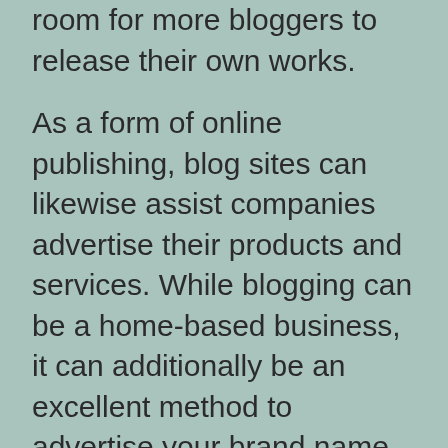room for more bloggers to release their own works.
As a form of online publishing, blog sites can likewise assist companies advertise their products and services. While blogging can be a home-based business, it can additionally be an excellent method to advertise your brand name. If you're tech-savvy, you can also create your own site to hold your blog site. If you're comfortable with computers and also the Internet, you can begin blogging for profit. You can earn a substantial revenue with a blog.
It is essential to note that blog writing can be a